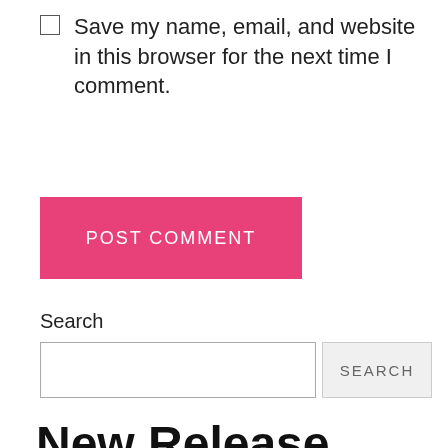Save my name, email, and website in this browser for the next time I comment.
POST COMMENT
Search
New Release
[Figure (photo): Partial photo of a person outdoors with green/tree background, cropped at bottom of page]